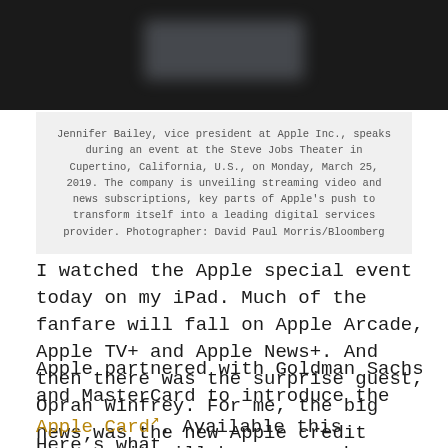[Figure (photo): Dark photo showing a person (Jennifer Bailey) speaking at an Apple event at the Steve Jobs Theater, Cupertino. Dark background with blurred text/display visible.]
Jennifer Bailey, vice president at Apple Inc., speaks during an event at the Steve Jobs Theater in Cupertino, California, U.S., on Monday, March 25, 2019. The company is unveiling streaming video and news subscriptions, key parts of Apple's push to transform itself into a leading digital services provider. Photographer: David Paul Morris/Bloomberg
I watched the Apple special event today on my iPad. Much of the fanfare will fall on Apple Arcade, Apple TV+ and Apple News+. And then there was the surprise guest, Oprah Winfrey. For me, the big news was the new Apple credit card.
Apple partnered with Goldman Sachs and MasterCard to introduce the Apple Card↗. Available this summer, it will be a game changer.
Here's what...